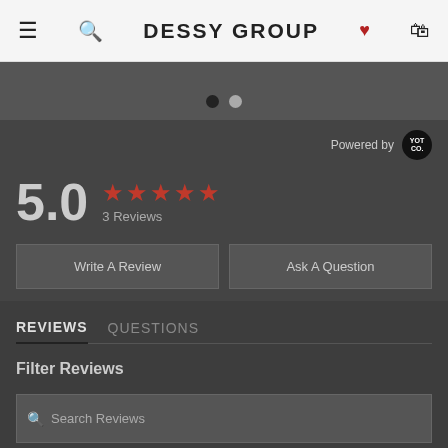DESSY GROUP
[Figure (other): Carousel navigation dots, one filled and one empty]
Powered by Yotpo
5.0 ★★★★★ 3 Reviews
Write A Review | Ask A Question
REVIEWS  QUESTIONS
Filter Reviews
Search Reviews